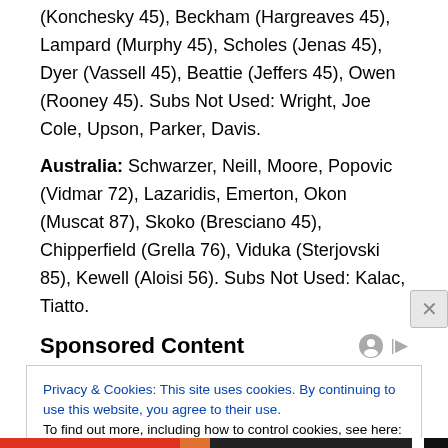(Konchesky 45), Beckham (Hargreaves 45), Lampard (Murphy 45), Scholes (Jenas 45), Dyer (Vassell 45), Beattie (Jeffers 45), Owen (Rooney 45). Subs Not Used: Wright, Joe Cole, Upson, Parker, Davis.
Australia: Schwarzer, Neill, Moore, Popovic (Vidmar 72), Lazaridis, Emerton, Okon (Muscat 87), Skoko (Bresciano 45), Chipperfield (Grella 76), Viduka (Sterjovski 85), Kewell (Aloisi 56). Subs Not Used: Kalac, Tiatto.
Sponsored Content
Privacy & Cookies: This site uses cookies. By continuing to use this website, you agree to their use.
To find out more, including how to control cookies, see here: Cookie Policy